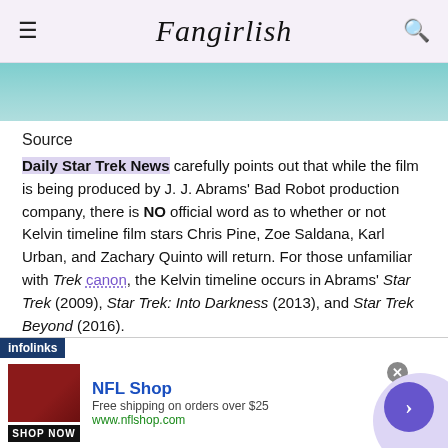Fangirlish
[Figure (photo): Partial image strip showing teal/blue fabric or costume, cropped at top of content area]
Source
Daily Star Trek News carefully points out that while the film is being produced by J. J. Abrams' Bad Robot production company, there is NO official word as to whether or not Kelvin timeline film stars Chris Pine, Zoe Saldana, Karl Urban, and Zachary Quinto will return. For those unfamiliar with Trek canon, the Kelvin timeline occurs in Abrams' Star Trek (2009), Star Trek: Into Darkness (2013), and Star Trek Beyond (2016).
[Figure (other): Infolinks advertisement banner: NFL Shop - Free shipping on orders over $25 - www.nflshop.com - SHOP NOW button]